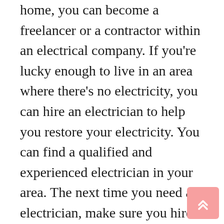home, you can become a freelancer or a contractor within an electrical company. If you're lucky enough to live in an area where there's no electricity, you can hire an electrician to help you restore your electricity. You can find a qualified and experienced electrician in your area. The next time you need an electrician, make sure you hire someone who has the right skills to meet your needs.
The job description of an electrician varies from job to job. Some electricians are sole traders while others operate as part of an electrical business. The latter option allows the individual to set their own schedule and work wherever they want. Either way, the job is extremely rewarding and can lead to a variety of different experiences. The choice you make